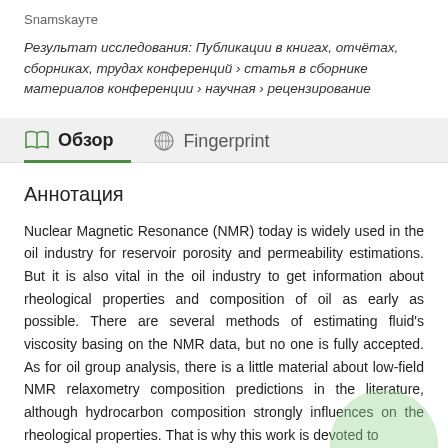Snamskayтe
Результат исследования: Публикации в книгах, отчётах, сборниках, трудах конференций › статья в сборнике материалов конференции › научная › рецензирование
Обзор
Fingerprint
Аннотация
Nuclear Magnetic Resonance (NMR) today is widely used in the oil industry for reservoir porosity and permeability estimations. But it is also vital in the oil industry to get information about rheological properties and composition of oil as early as possible. There are several methods of estimating fluid's viscosity basing on the NMR data, but no one is fully accepted. As for oil group analysis, there is a little material about low-field NMR relaxometry composition predictions in the literature, although hydrocarbon composition strongly influences on the rheological properties. That is why this work is devoted to